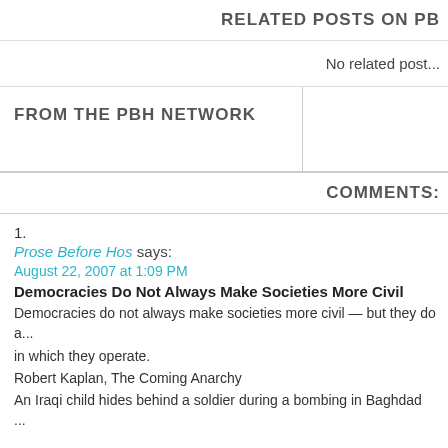RELATED POSTS ON PB...
No related post...
FROM THE PBH NETWORK
COMMENTS:
1.
Prose Before Hos says:
August 22, 2007 at 1:09 PM
Democracies Do Not Always Make Societies More Civil
Democracies do not always make societies more civil — but they do a... in which they operate.
Robert Kaplan, The Coming Anarchy
An Iraqi child hides behind a soldier during a bombing in Baghdad
...